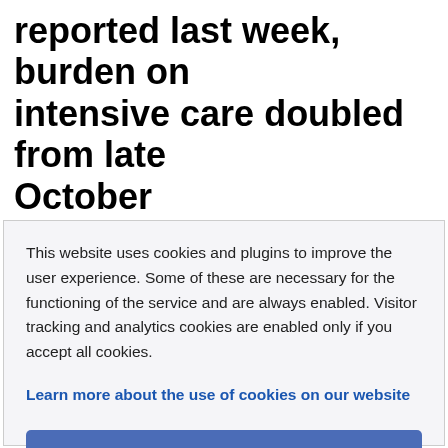reported last week, burden on intensive care doubled from late October
This website uses cookies and plugins to improve the user experience. Some of these are necessary for the functioning of the service and are always enabled. Visitor tracking and analytics cookies are enabled only if you accept all cookies.
Learn more about the use of cookies on our website
I accept all cookies
I accept only necessary cookies